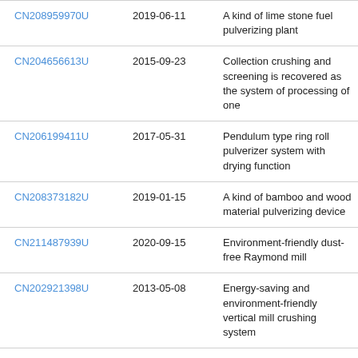| Patent ID | Date | Description |
| --- | --- | --- |
| CN208959970U | 2019-06-11 | A kind of lime stone fuel pulverizing plant |
| CN204656613U | 2015-09-23 | Collection crushing and screening is recovered as the system of processing of one |
| CN206199411U | 2017-05-31 | Pendulum type ring roll pulverizer system with drying function |
| CN208373182U | 2019-01-15 | A kind of bamboo and wood material pulverizing device |
| CN211487939U | 2020-09-15 | Environment-friendly dust-free Raymond mill |
| CN202921398U | 2013-05-08 | Energy-saving and environment-friendly vertical mill crushing system |
| CN208373209U | 2019-01-15 | A kind of all-round flour mill of pendulum-type |